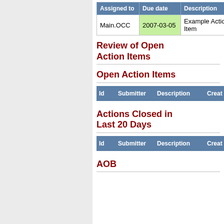| Assigned to | Due date | Description | Su |
| --- | --- | --- | --- |
| Main.OCC | 2007-03-05 | Example Action Item | c |
Review of Open Action Items
Open Action Items
| Id | Submitter | Description | Creat |
| --- | --- | --- | --- |
Actions Closed in Last 20 Days
| Id | Submitter | Description | Creat |
| --- | --- | --- | --- |
AOB